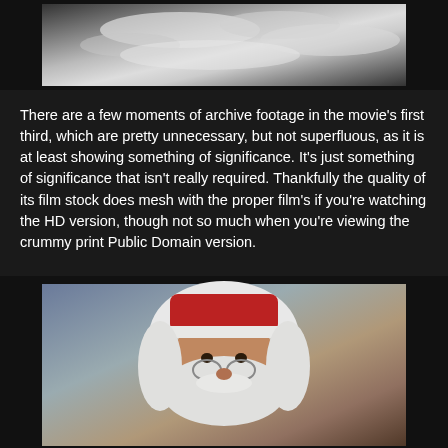[Figure (photo): Partial photo showing snow or white powdery substance, dark background on sides]
There are a few moments of archive footage in the movie's first third, which are pretty unnecessary, but not superfluous, as it is at least showing something of significance. It's just something of significance that isn't really required. Thankfully the quality of its film stock does mesh with the proper film's if you're watching the HD version, though not so much when you're viewing the crummy print Public Domain version.
This movie's score is ok, if eclectic, and the main theme, Hooray for Santy Claus, is listenable, in a fun camp kinda way.
[Figure (photo): Photo of a person dressed as Santa Claus with white wig and beard, wearing glasses, partial face visible]